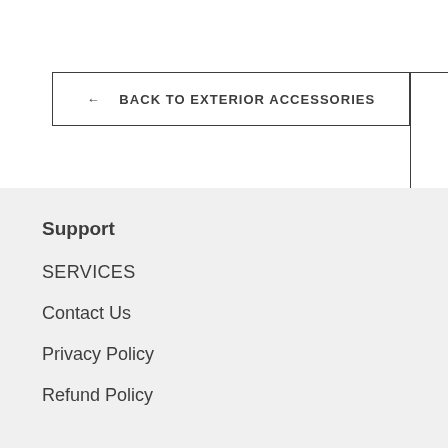← BACK TO EXTERIOR ACCESSORIES
Support
SERVICES
Contact Us
Privacy Policy
Refund Policy
NOTIFY ME